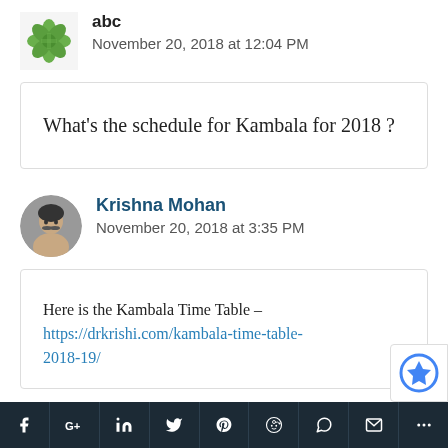[Figure (logo): Green geometric flower/cross avatar icon for user 'abc']
abc
November 20, 2018 at 12:04 PM
What's the schedule for Kambala for 2018 ?
[Figure (photo): Profile photo of Krishna Mohan, a man with a mustache]
Krishna Mohan
November 20, 2018 at 3:35 PM
Here is the Kambala Time Table – https://drkrishi.com/kambala-time-table-2018-19/
[Figure (other): reCAPTCHA badge icon (partial, blue)]
[Figure (infographic): Social sharing bar with icons: Facebook, Google+, LinkedIn, Twitter, Pinterest, Reddit, WhatsApp, Email, More]